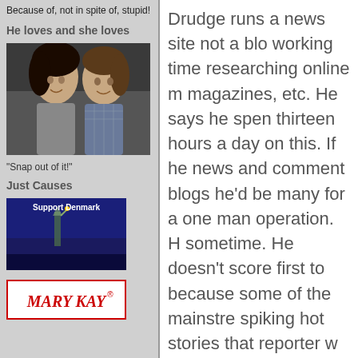Because of, not in spite of, stupid!
He loves and she loves
[Figure (photo): A couple facing each other closely, a man and woman looking at each other romantically]
"Snap out of it!"
Just Causes
[Figure (illustration): Support Denmark banner with Statue of Liberty image and text FreedomsZone.com]
[Figure (logo): Mary Kay logo in red italic text with registered trademark symbol]
Drudge runs a news site not a blog working time researching online magazines, etc. He says he spends thirteen hours a day on this. If he news and comment blogs he'd be many for a one man operation. H sometime. He doesn't score first to because some of the mainstre spiking hot stories that reporter w sites doing what he is doing, som others are specialized. If you noti persona on the old time reporters stuff and get fed stuff to make a d still hit his site everyday.
I thought the Drudge Report was across it in 1997 (IIRC). However